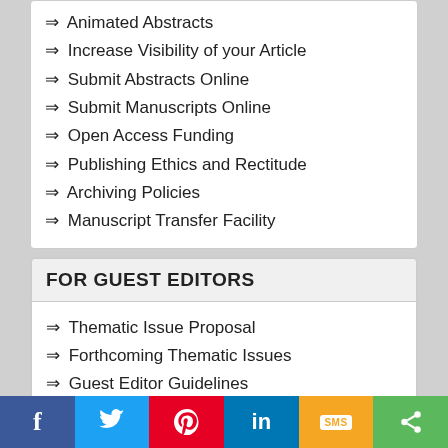⇒ Animated Abstracts
⇒ Increase Visibility of your Article
⇒ Submit Abstracts Online
⇒ Submit Manuscripts Online
⇒ Open Access Funding
⇒ Publishing Ethics and Rectitude
⇒ Archiving Policies
⇒ Manuscript Transfer Facility
FOR GUEST EDITORS
⇒ Thematic Issue Proposal
⇒ Forthcoming Thematic Issues
⇒ Guest Editor Guidelines
FOR REVIEWERS
⇒ Reviewer Guidelines
⇒ Peer Review Workflow
⇒ Become a Reviewer